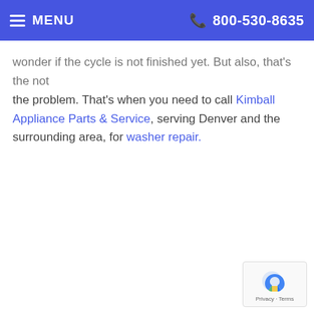MENU  800-530-8635
wonder if the cycle is not finished yet. But also, that's the not the problem. That's when you need to call Kimball Appliance Parts & Service, serving Denver and the surrounding area, for washer repair.